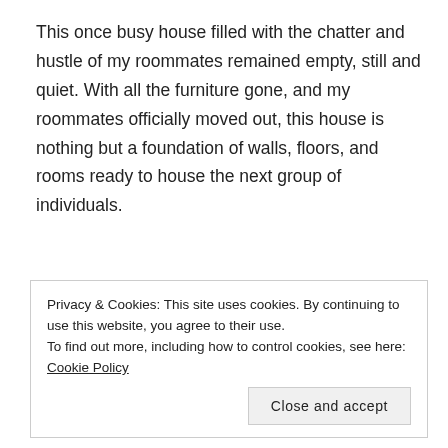This once busy house filled with the chatter and hustle of my roommates remained empty, still and quiet. With all the furniture gone, and my roommates officially moved out, this house is nothing but a foundation of walls, floors, and rooms ready to house the next group of individuals.
Privacy & Cookies: This site uses cookies. By continuing to use this website, you agree to their use. To find out more, including how to control cookies, see here: Cookie Policy
do.